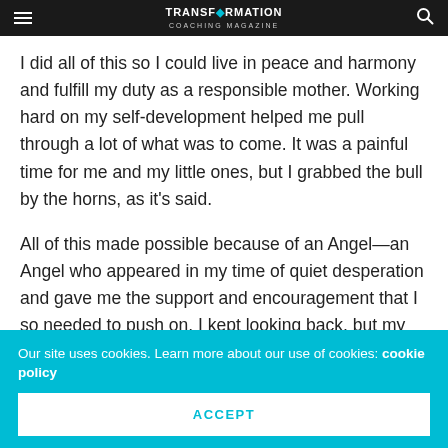TRANSFORMATION COACHING MAGAZINE
I did all of this so I could live in peace and harmony and fulfill my duty as a responsible mother. Working hard on my self-development helped me pull through a lot of what was to come. It was a painful time for me and my little ones, but I grabbed the bull by the horns, as it's said.
All of this made possible because of an Angel—an Angel who appeared in my time of quiet desperation and gave me the support and encouragement that I so needed to push on. I kept looking back, but my Angel always made sure I only looked forward.
Our site uses cookies. Learn more about our use of cookies: cookie policy
ACCEPT